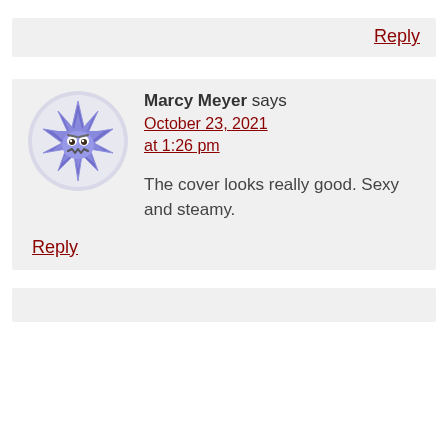interesting
Reply
Marcy Meyer says
October 23, 2021 at 1:26 pm
[Figure (illustration): Purple cartoon star-shaped face character with eyes and jagged mouth on a circular background]
The cover looks really good. Sexy and steamy.
Reply